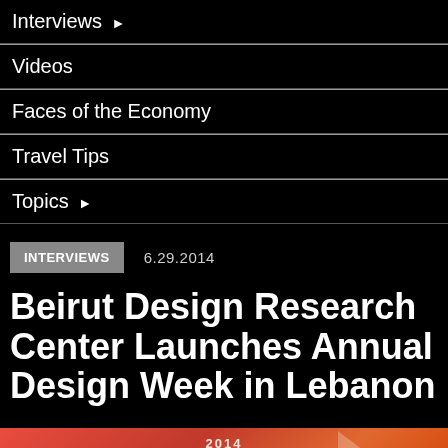Interviews ▶
Videos
Faces of the Economy
Travel Tips
Topics ▶
INTERVIEWS    6.29.2014
Beirut Design Research Center Launches Annual Design Week in Lebanon
[Figure (photo): Red and orange banner image with text '2014 BEIRUT' and an arrow shape, promotional graphic for Beirut Design Week 2014]